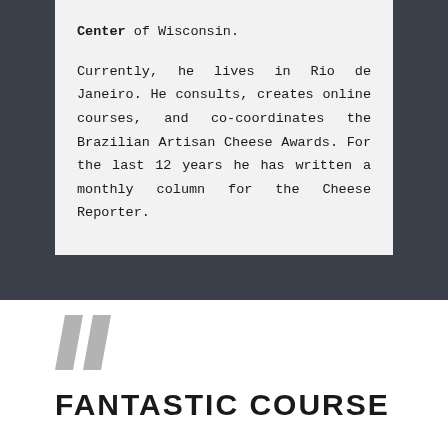Center of Wisconsin. Currently, he lives in Rio de Janeiro. He consults, creates online courses, and co-coordinates the Brazilian Artisan Cheese Awards. For the last 12 years he has written a monthly column for the Cheese Reporter.
[Figure (illustration): Large gray decorative double-quotation mark icon]
FANTASTIC COURSE